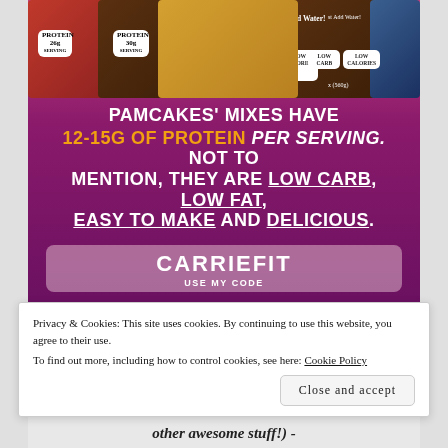[Figure (photo): Advertisement for Pamcakes protein pancake mixes. Shows several product bags (red, brown, gold/yellow, and blue) with protein content labels. Purple/magenta gradient background with bold white and gold text promoting 12-15g of protein per serving, low carb, low fat, easy to make and delicious. Includes a promo code box showing CARRIEFIT.]
Privacy & Cookies: This site uses cookies. By continuing to use this website, you agree to their use.
To find out more, including how to control cookies, see here: Cookie Policy
Close and accept
other awesome stuff!) -